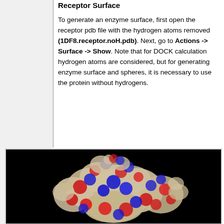Receptor Surface
To generate an enzyme surface, first open the receptor pdb file with the hydrogen atoms removed (1DF8.receptor.noH.pdb). Next, go to Actions -> Surface -> Show. Note that for DOCK calculation hydrogen atoms are considered, but for generating enzyme surface and spheres, it is necessary to use the protein without hydrogens.
[Figure (photo): 3D molecular surface rendering of a protein (1DF8 receptor without hydrogen atoms) shown on a black background. The surface is displayed in space-filling style with beige/tan carbon atoms, red oxygen atoms, and blue nitrogen atoms visible.]